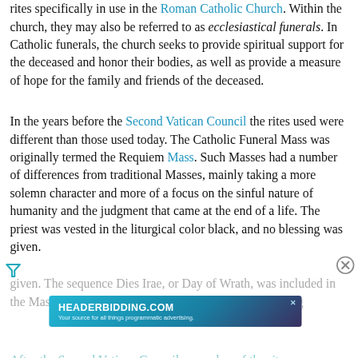rites specifically in use in the Roman Catholic Church. Within the church, they may also be referred to as ecclesiastical funerals. In Catholic funerals, the church seeks to provide spiritual support for the deceased and honor their bodies, as well as provide a measure of hope for the family and friends of the deceased.
In the years before the Second Vatican Council the rites used were different than those used today. The Catholic Funeral Mass was originally termed the Requiem Mass. Such Masses had a number of differences from traditional Masses, mainly taking a more solemn character and more of a focus on the sinful nature of humanity and the judgment that came at the end of a life. The priest was vested in the liturgical color black, and no blessing was given. The sequence Dies Irae, or Day of Wrath, was included in the Mass, which reminded the congregation of the t...
[Figure (other): Advertisement banner for HEADERBIDDING.COM with tagline 'Your source for all things programmatic advertising.' on a blue/teal gradient background with close button.]
After the Second Vatican Council, a number of the rites...